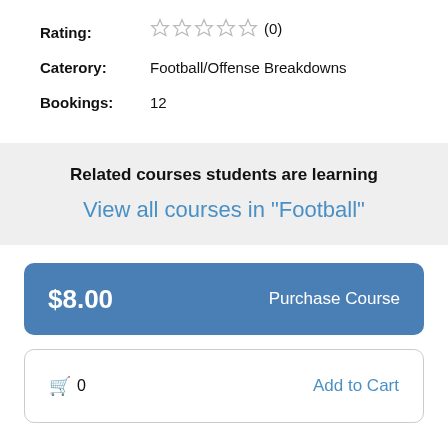Rating: ☆☆☆☆☆ (0)
Caterory: Football/Offense Breakdowns
Bookings: 12
Related courses students are learning
View all courses in "Football"
$8.00  Purchase Course
🛒 0  Add to Cart